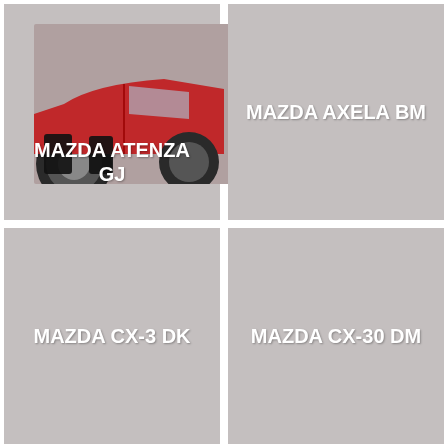[Figure (photo): Product category tile: MAZDA ATENZA GJ with photo of mud flaps on red Mazda vehicle]
[Figure (photo): Product category tile: MAZDA AXELA BM, grey placeholder]
[Figure (photo): Product category tile: MAZDA CX-3 DK, grey placeholder]
[Figure (photo): Product category tile: MAZDA CX-30 DM, grey placeholder]